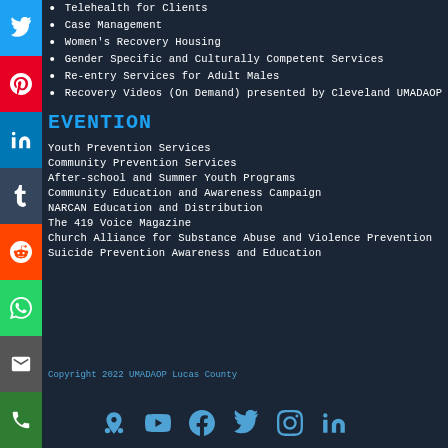Telehealth for Clients
Case Management
Women's Recovery Housing
Gender Specific and Culturally Competent Services
Re-entry Services for Adult Males
Recovery Videos (On Demand) presented by Cleveland UMADAOP
EVENTION
Youth Prevention Services
Community Prevention Services
After-school and Summer Youth Programs
Community Education and Awareness Campaign
NARCAN Education and Distribution
The 419 Voice Magazine
Church Alliance for Substance Abuse and Violence Prevention
Suicide Prevention Awareness and Education
Copyright 2022 UMADAOP Lucas County